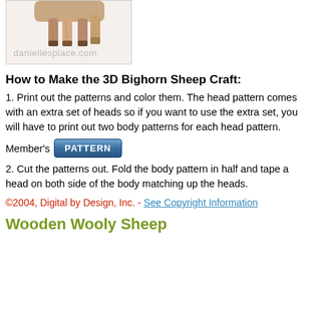[Figure (illustration): Partial image of a 3D bighorn sheep craft showing legs, with watermark 'daniellesplace.com']
How to Make the 3D Bighorn Sheep Craft:
1. Print out the patterns and color them. The head pattern comes with an extra set of heads so if you want to use the extra set, you will have to print out two body patterns for each head pattern.
Member's PATTERN
2. Cut the patterns out. Fold the body pattern in half and tape a head on both side of the body matching up the heads.
©2004, Digital by Design, Inc. - See Copyright Information
Wooden Wooly Sheep